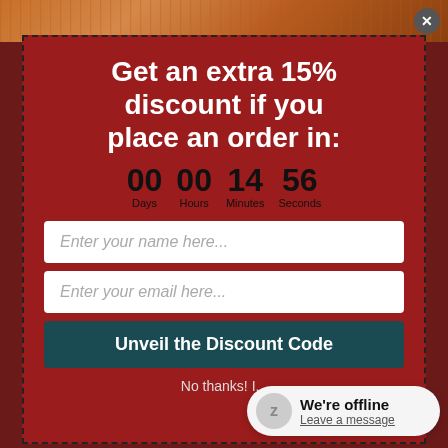[Figure (photo): Top partial image of a warm-toned autumn/food photography background]
Get an extra 15% discount if you place an order in:
00 Days  00 Hours  14 Minutes  56 Seconds
Enter your name here...
Enter your email here...
Unveil the Discount Code
No thanks! I...
We're offline
Leave a message